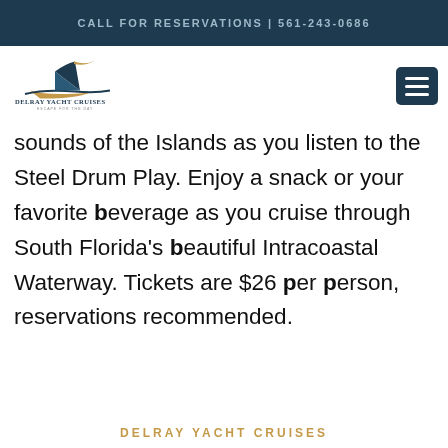CALL FOR RESERVATIONS | 561-243-0686
[Figure (logo): Delray Yacht Cruises logo with boat graphic and tagline 'Escape for the Day']
sounds of the Islands as you listen to the Steel Drum Play. Enjoy a snack or your favorite beverage as you cruise through South Florida's beautiful Intracoastal Waterway. Tickets are $26 per person, reservations recommended.
DELRAY YACHT CRUISES